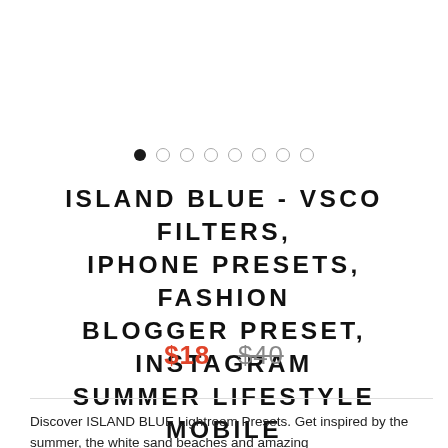[Figure (other): Image slideshow navigation dots: one filled black dot followed by seven empty/outline dots]
ISLAND BLUE - VSCO FILTERS, IPHONE PRESETS, FASHION BLOGGER PRESET, INSTAGRAM SUMMER LIFESTYLE MOBILE PRESETS
$18  $40
Discover ISLAND BLUE Lightroom Presets. Get inspired by the summer, the white sand beaches and amazing